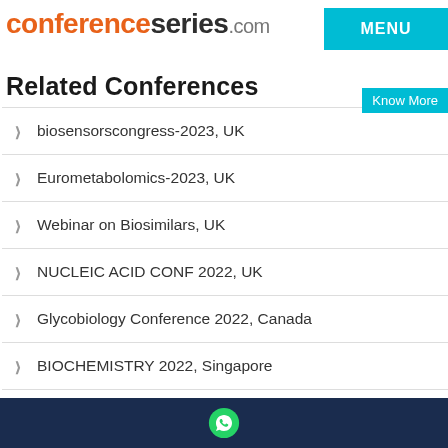conferenceseries.com
MENU
Know More
Related Conferences
biosensorscongress-2023, UK
Eurometabolomics-2023, UK
Webinar on Biosimilars, UK
NUCLEIC ACID CONF 2022, UK
Glycobiology Conference 2022, Canada
BIOCHEMISTRY 2022, Singapore
WhatsApp contact